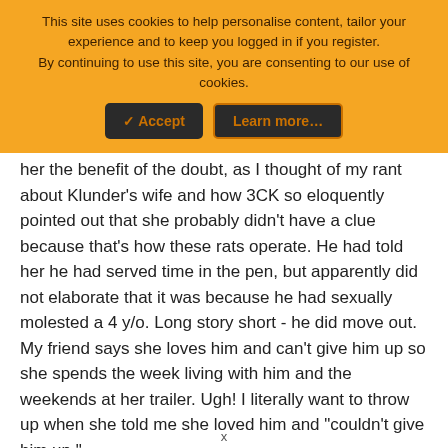This site uses cookies to help personalise content, tailor your experience and to keep you logged in if you register. By continuing to use this site, you are consenting to our use of cookies.
her the benefit of the doubt, as I thought of my rant about Klunder's wife and how 3CK so eloquently pointed out that she probably didn't have a clue because that's how these rats operate. He had told her he had served time in the pen, but apparently did not elaborate that it was because he had sexually molested a 4 y/o. Long story short - he did move out. My friend says she loves him and can't give him up so she spends the week living with him and the weekends at her trailer. Ugh! I literally want to throw up when she told me she loved him and "couldn't give him up."
I'm sure this creep plea-bargained his sentence way down. He only served about 6 years from what I understand. Disgusting
x